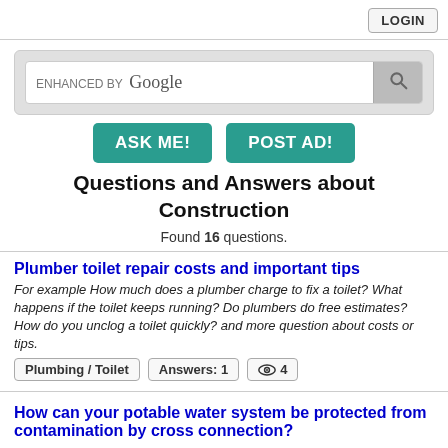LOGIN
[Figure (screenshot): Google search bar with 'ENHANCED BY Google' text and search icon]
[Figure (other): Two teal buttons labeled 'ASK ME!' and 'POST AD!']
Questions and Answers about Construction
Found 16 questions.
Plumber toilet repair costs and important tips
For example How much does a plumber charge to fix a toilet? What happens if the toilet keeps running? Do plumbers do free estimates? How do you unclog a toilet quickly? and more question about costs or tips.
Plumbing / Toilet   Answers: 1   👁 4
How can your potable water system be protected from contamination by cross connection?